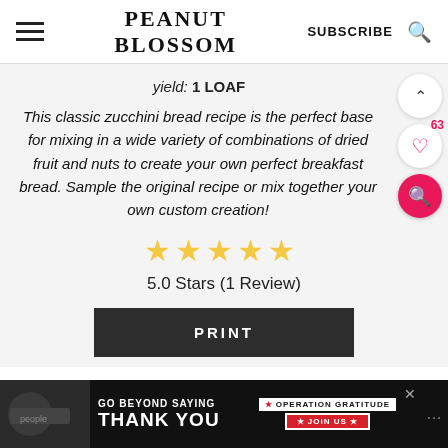PEANUT BLOSSOM
yield: 1 LOAF
This classic zucchini bread recipe is the perfect base for mixing in a wide variety of combinations of dried fruit and nuts to create your own perfect breakfast bread. Sample the original recipe or mix together your own custom creation!
5.0 Stars (1 Review)
PRINT
[Figure (other): Advertisement banner: GO BEYOND SAYING THANK YOU – Operation Gratitude JOIN US]